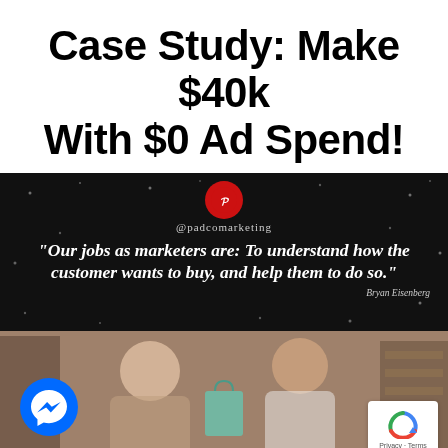Case Study: Make $40k With $0 Ad Spend!
[Figure (infographic): Dark background quote card with @padcomarketing handle and logo. Quote reads: "Our jobs as marketers are: To understand how the customer wants to buy, and help them to do so." attributed to Bryan Eisenberg. Decorative star/dot pattern in background.]
[Figure (photo): Photo of two women in a retail setting, one handing the other a teal shopping bag. Facebook Messenger icon overlay bottom left. Google reCAPTCHA badge bottom right showing Privacy - Terms.]